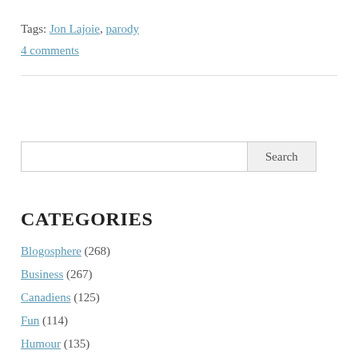Tags: Jon Lajoie, parody
4 comments
CATEGORIES
Blogosphere (268)
Business (267)
Canadiens (125)
Fun (114)
Humour (135)
In the news (354)